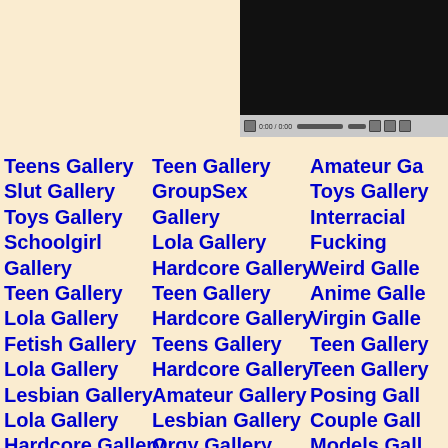[Figure (screenshot): Two video player screenshots with dark screens and playback controls]
Teens Gallery
Slut Gallery
Toys Gallery
Schoolgirl Gallery
Teen Gallery
Lola Gallery
Fetish Gallery
Lola Gallery
Lesbian Gallery
Lola Gallery
Hardcore Gallery
Teen Gallery
Babes Gallery
Celeb Gallery
Teen Gallery
GroupSex Gallery
Lola Gallery
Hardcore Gallery
Teen Gallery
Hardcore Gallery
Teens Gallery
Hardcore Gallery
Amateur Gallery
Lesbian Gallery
Orgy Gallery
Amateur Gallery
Cumshot Gallery
Amateur Gallery
Amateur Ga
Toys Gallery
Interracial Fucking
Weird Galle
Anime Galle
Virgin Galle
Teen Gallery
Teen Gallery
Posing Gall
Couple Gall
Models Gall
Hardcore G
Big Tits Gall
Teens Gall